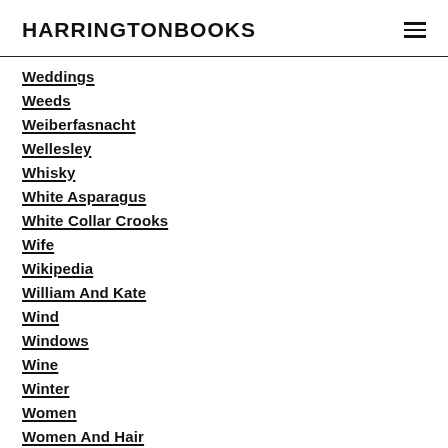HARRINGTONBOOKS
Weddings
Weeds
Weiberfasnacht
Wellesley
Whisky
White Asparagus
White Collar Crooks
Wife
Wikipedia
William And Kate
Wind
Windows
Wine
Winter
Women
Women And Hair